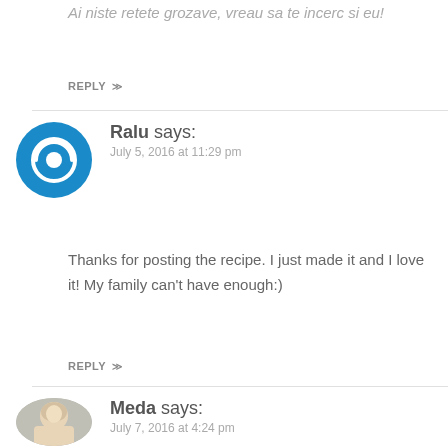Ai niste retete grozave, vreau sa te incerc si eu!
REPLY ≫
Ralu says:
July 5, 2016 at 11:29 pm
Thanks for posting the recipe. I just made it and I love it! My family can't have enough:)
REPLY ≫
Meda says:
July 7, 2016 at 4:24 pm
Aww thank you! so glad! 🙂
REPLY ≫